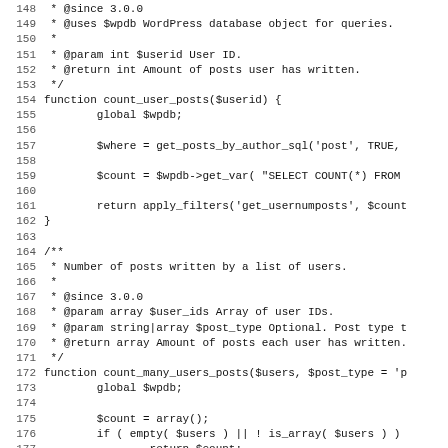Code listing lines 148–179 showing PHP functions count_user_posts and count_many_users_posts with PHPDoc comments